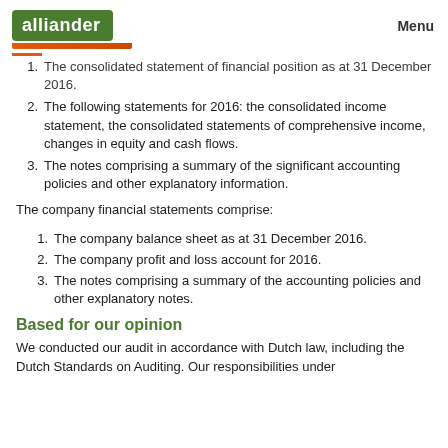alliander   Menu
1. The consolidated statement of financial position as at 31 December 2016.
2. The following statements for 2016: the consolidated income statement, the consolidated statements of comprehensive income, changes in equity and cash flows.
3. The notes comprising a summary of the significant accounting policies and other explanatory information.
The company financial statements comprise:
1. The company balance sheet as at 31 December 2016.
2. The company profit and loss account for 2016.
3. The notes comprising a summary of the accounting policies and other explanatory notes.
Based for our opinion
We conducted our audit in accordance with Dutch law, including the Dutch Standards on Auditing. Our responsibilities under